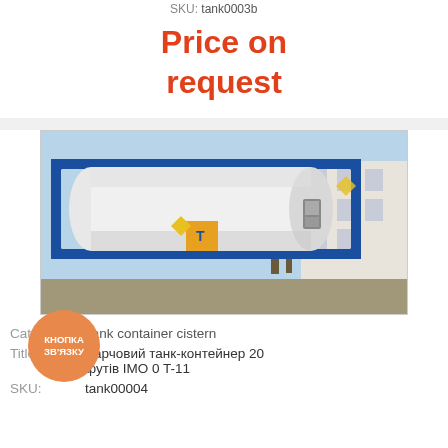SKU: tank0003
Price on request
[Figure (photo): Photo of a white ISO tank container with blue metal frame structure, showing a cylindrical tank inside a rectangular blue steel frame, with a hazmat 'T' placard visible, parked outdoors in front of a building.]
Catalog: Tank container cistern
Title: Харчовий танк-контейнер 20 футів IMO 0 T-11
SKU: tank00004
Price on